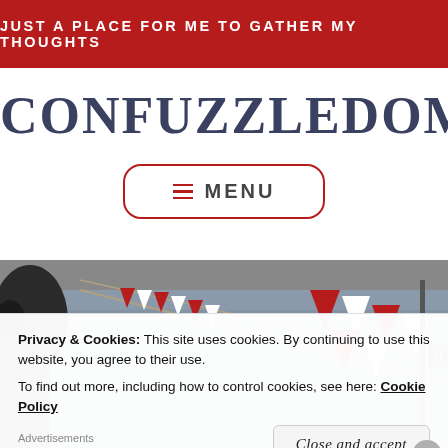JUST A PLACE FOR ME TO GATHER MY THOUGHTS
CONFUZZLEDOM
☰ MENU
[Figure (photo): Outdoor waterfront scene with colorful red and white triangular bunting flags strung on ropes, water visible in the background, trees on the left, partially desaturated/black-and-white photo, with a numbered marker visible on the right side.]
Privacy & Cookies: This site uses cookies. By continuing to use this website, you agree to their use.
To find out more, including how to control cookies, see here: Cookie Policy
Close and accept
Advertisements